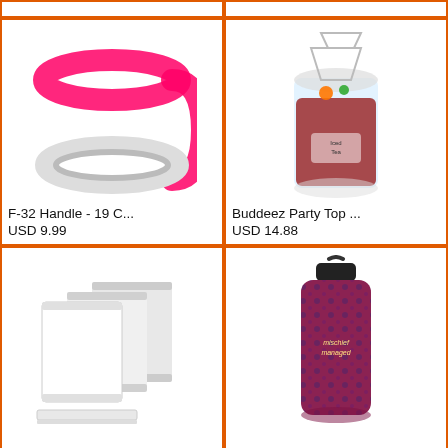[Figure (photo): Top partial row - two product cells cut off at top]
[Figure (photo): F-32 Handle pink silicone cup handle product photo]
F-32 Handle - 19 C...
USD 9.99
[Figure (photo): Buddeez Party Top beverage dispenser product photo]
Buddeez Party Top ...
USD 14.88
[Figure (photo): Mousse Cake Collar acetate rolls product photo]
Mousse Cake Collar...
[Figure (photo): Harry Potter Stainless Steel water bottle mischief managed]
Harry Potter Stain...
[Figure (photo): Bottom partial row - two product cells cut off at bottom showing colorful items]